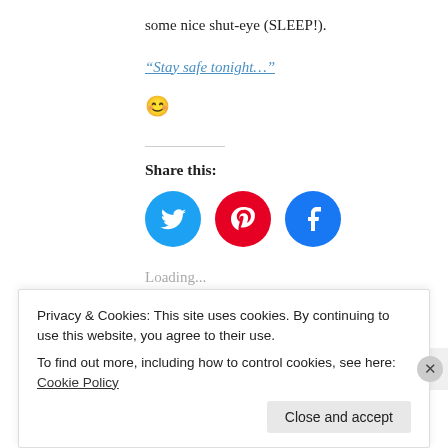some nice shut-eye (SLEEP!).
“Stay safe tonight…”
[Figure (other): Smiley face emoji]
Share this:
[Figure (other): Twitter, Pinterest, Facebook social share icon circles]
Loading...
Filed   Leave a comment
under
Privacy & Cookies: This site uses cookies. By continuing to use this website, you agree to their use.
To find out more, including how to control cookies, see here: Cookie Policy
Close and accept